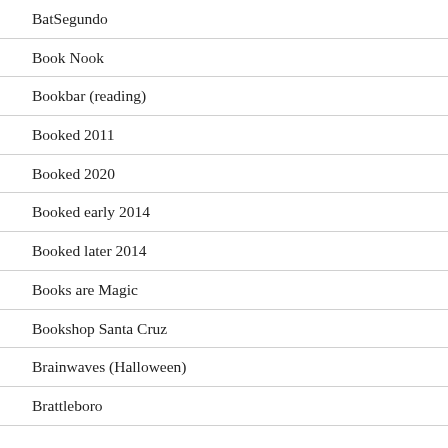BatSegundo
Book Nook
Bookbar (reading)
Booked 2011
Booked 2020
Booked early 2014
Booked later 2014
Books are Magic
Bookshop Santa Cruz
Brainwaves (Halloween)
Brattleboro